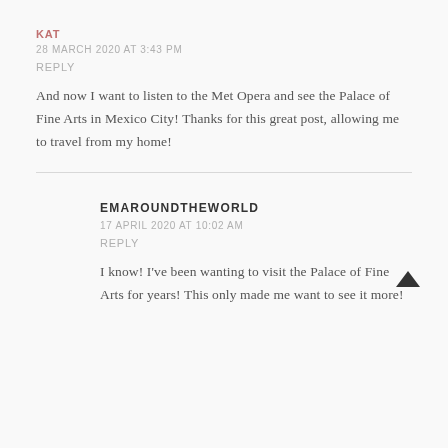KAT
28 MARCH 2020 AT 3:43 PM
REPLY
And now I want to listen to the Met Opera and see the Palace of Fine Arts in Mexico City! Thanks for this great post, allowing me to travel from my home!
EMAROUNDTHEWORLD
17 APRIL 2020 AT 10:02 AM
REPLY
I know! I've been wanting to visit the Palace of Fine Arts for years! This only made me want to see it more!